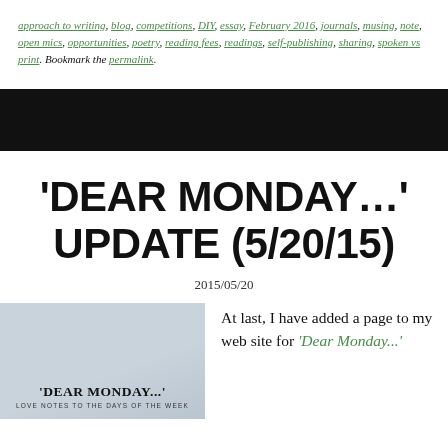approach to writing, blog, competitions, DIY, essay, February 2016, journals, musing, note, open mics, opportunities, poetry, reading fees, readings, self-publishing, sharing, spoken vs print. Bookmark the permalink.
[Figure (other): Black navigation/header bar spanning full width of page]
'DEAR MONDAY…' UPDATE (5/20/15)
2015/05/20
[Figure (photo): Image with light grey/blue marbled background showing the text 'DEAR MONDAY...' in bold serif font with subtitle 'LOVE NOTES TO THE DAYS OF THE WEEK']
At last, I have added a page to my web site for 'Dear Monday...'